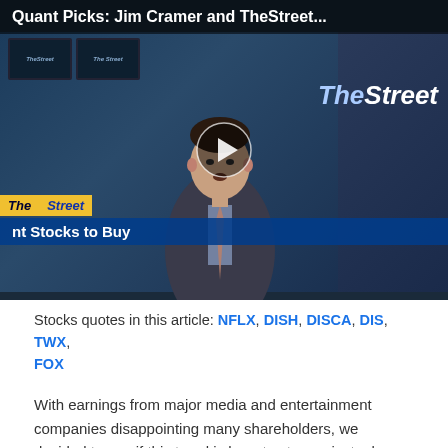[Figure (screenshot): Video thumbnail of a news anchor at TheStreet studio with title 'Quant Picks: Jim Cramer and TheStreet...' and a play button overlay. Lower thirds show 'The Street' branding and 'nt Stocks to Buy' text bar.]
Stocks quotes in this article: NFLX, DISH, DISCA, DIS, TWX, FOX
With earnings from major media and entertainment companies disappointing many shareholders, we decided to see if this trend is here to stay, or just a bump in the road. Many pay-TV subscribers are cutting their cords, and switching to cheaper alternatives, such as Netflix and Sling TV. Shares of Time Warner, Discovery Communications,